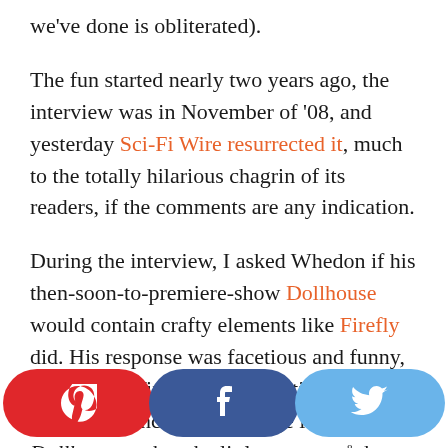we've done is obliterated).
The fun started nearly two years ago, the interview was in November of '08, and yesterday Sci-Fi Wire resurrected it, much to the totally hilarious chagrin of its readers, if the comments are any indication.
During the interview, I asked Whedon if his then-soon-to-premiere-show Dollhouse would contain crafty elements like Firefly did. His response was facetious and funny, and Sci-Fi Wire running an article saying that the absence of decoupage is what killed Dollhouse makes the little green men that flutter a[...] h[...] h song of laug[...]
[Figure (infographic): Social share buttons: Pinterest (red pill-shaped button with P icon), Facebook (dark blue pill-shaped button with f icon), Twitter (light blue pill-shaped button with bird icon)]